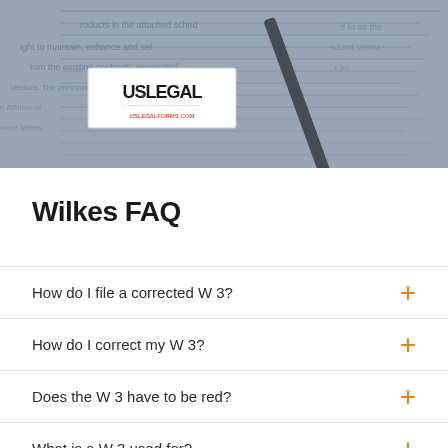[Figure (photo): Header image showing legal documents with pen and USLegal logo in top-left corner. Background shows blurred contract text with pen resting on it. Blue-tinted photo.]
Wilkes FAQ
How do I file a corrected W 3?
How do I correct my W 3?
Does the W 3 have to be red?
What is a W 3 used for?
How do I correct my W 3?